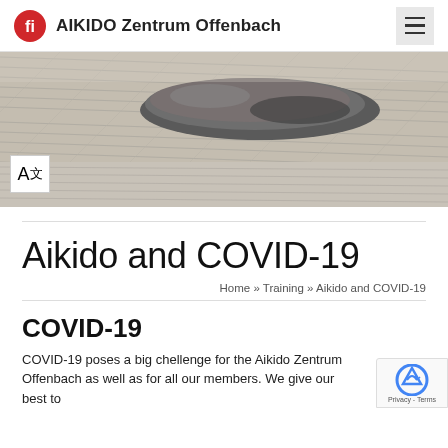AIKIDO Zentrum Offenbach
[Figure (photo): Hero image of a Zen garden with raked sand patterns and a large stone rock, with a translation icon badge overlay in the bottom left corner]
Aikido and COVID-19
Home » Training » Aikido and COVID-19
COVID-19
COVID-19 poses a big chellenge for the Aikido Zentrum Offenbach as well as for all our members. We give our best to